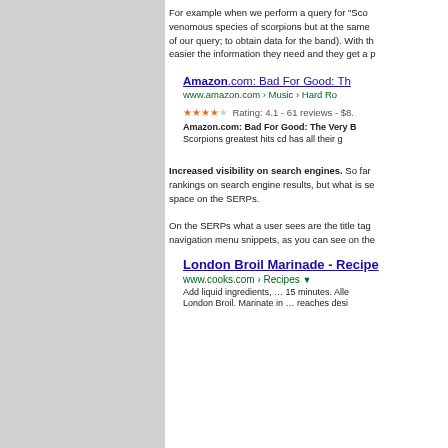For example when we perform a query for "Sco venomous species of scorpions but at the same of our query; to obtain data for the band). With th easier the information they need and they get a p
[Figure (screenshot): Google search result for Amazon.com: Bad For Good: The... showing URL www.amazon.com › Music › Hard Ro..., star rating 4.1 - 61 reviews - $8..., and snippet text about Scorpions greatest hits cd]
Increased visibility on search engines. So far rankings on search engine results, but what is se space on the SERPs.

On the SERPs what a user sees are the title tag navigation menu snippets, as you can see on the
[Figure (screenshot): Google search result for London Broil Marinade - Recipe showing URL www.cooks.com › Recipes and snippet about adding liquid ingredients, 15 minutes, marinating London Broil]